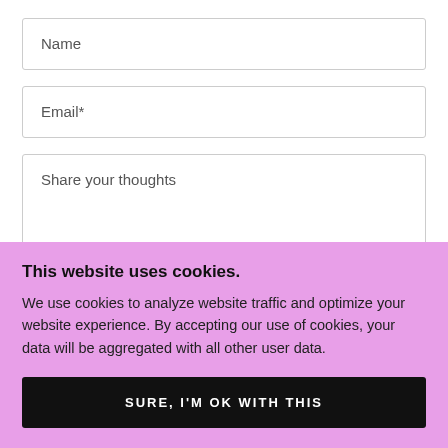Name
Email*
Share your thoughts
This website uses cookies.
We use cookies to analyze website traffic and optimize your website experience. By accepting our use of cookies, your data will be aggregated with all other user data.
SURE, I'M OK WITH THIS